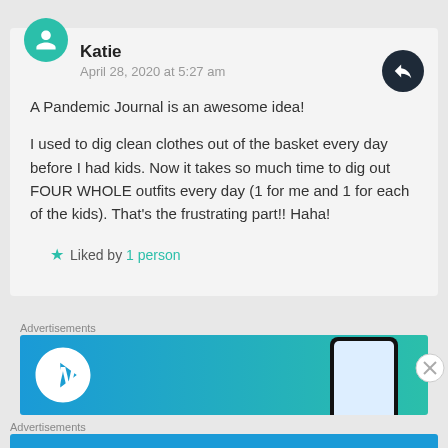Katie
April 28, 2020 at 5:27 am
A Pandemic Journal is an awesome idea!
I used to dig clean clothes out of the basket every day before I had kids. Now it takes so much time to dig out FOUR WHOLE outfits every day (1 for me and 1 for each of the kids). That's the frustrating part!! Haha!
★ Liked by 1 person
Advertisements
[Figure (other): WordPress.com advertisement banner with logo and phone graphic]
Advertisements
[Figure (other): WordPress.com advertisement banner with Build Your Website button]